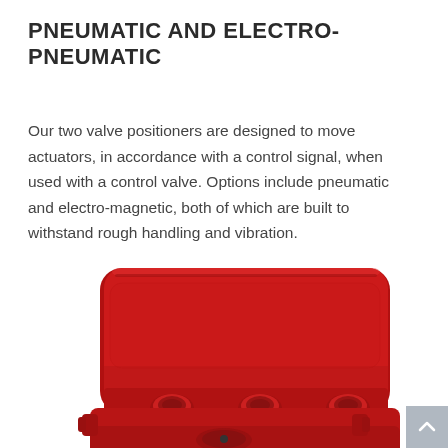PNEUMATIC AND ELECTRO-PNEUMATIC
Our two valve positioners are designed to move actuators, in accordance with a control signal, when used with a control valve. Options include pneumatic and electro-magnetic, both of which are built to withstand rough handling and vibration.
[Figure (photo): Close-up photograph of a red pneumatic/electro-pneumatic valve positioner device, showing the top and front face with four protruding connector ports, set against a white background.]